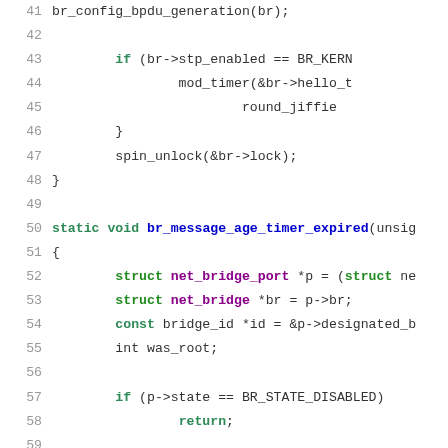[Figure (screenshot): Source code listing in C, lines 41-68, showing functions br_config_bpdu_generation and br_message_age_timer_expired with syntax highlighting: keywords in green/blue/purple, strings in red, comments in gray.]